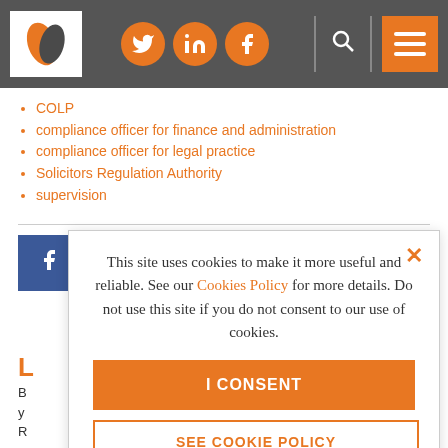Header navigation bar with logo, social icons (Twitter, LinkedIn, Facebook), search, and menu
COLP
compliance officer for finance and administration
compliance officer for legal practice
Solicitors Regulation Authority
supervision
[Figure (infographic): Social share buttons: Facebook (blue), Twitter (light blue), LinkedIn (dark blue)]
This site uses cookies to make it more useful and reliable. See our Cookies Policy for more details. Do not use this site if you do not consent to our use of cookies.
I CONSENT
SEE COOKIE POLICY